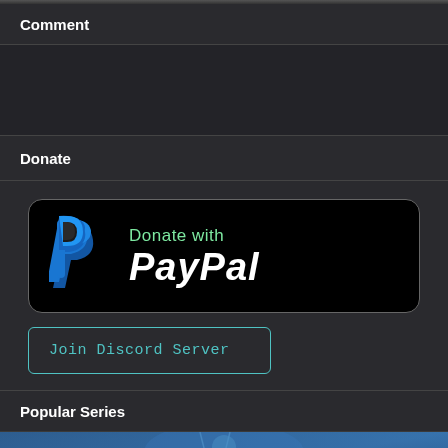Comment
Donate
[Figure (logo): PayPal donation button: black rounded rectangle with PayPal 'P' logo on the left and 'Donate with PayPal' text on the right in white/green]
Join Discord Server
Popular Series
[Figure (photo): Partial view of a blue-toned sci-fi or fantasy image at the bottom of the page]